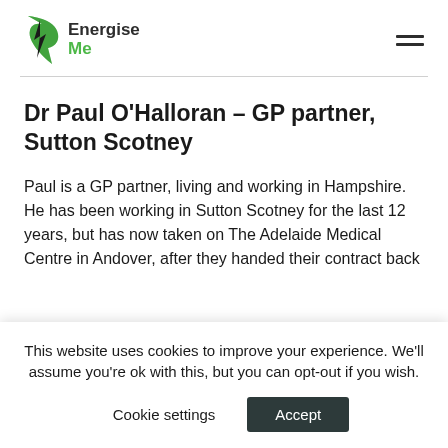[Figure (logo): Energise Me logo with green lightning bolt leaf icon and text 'Energise Me']
Dr Paul O'Halloran – GP partner, Sutton Scotney
Paul is a GP partner, living and working in Hampshire. He has been working in Sutton Scotney for the last 12 years, but has now taken on The Adelaide Medical Centre in Andover, after they handed their contract back
This website uses cookies to improve your experience. We'll assume you're ok with this, but you can opt-out if you wish.